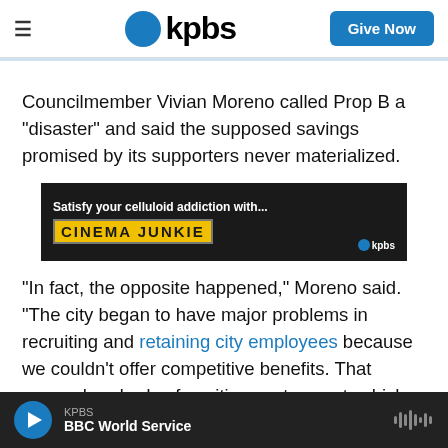kpbs | Give Now
Councilmember Vivian Moreno called Prop B a "disaster" and said the supposed savings promised by its supporters never materialized.
[Figure (infographic): Advertisement banner for KPBS Cinema Junkie: 'Satisfy your celluloid addiction with... CINEMA JUNKIE']
"In fact, the opposite happened," Moreno said. "The city began to have major problems in recruiting and retaining city employees because we couldn't offer competitive benefits. That means hundreds of positions sat vacant, which had the effect of
KPBS | BBC World Service